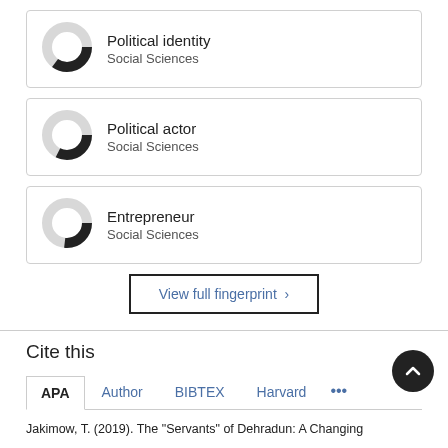Political identity
Social Sciences
Political actor
Social Sciences
Entrepreneur
Social Sciences
View full fingerprint >
Cite this
APA  Author  BIBTEX  Harvard  ...
Jakimow, T. (2019). The "Servants" of Dehradun: A Changing Political landscape, Moral and Community Life, and Attention to India